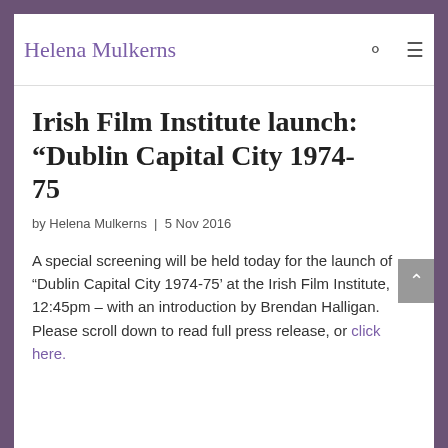Helena Mulkerns
Irish Film Institute launch: “Dublin Capital City 1974-75
by Helena Mulkerns | 5 Nov 2016
A special screening will be held today for the launch of “Dublin Capital City 1974-75’ at the Irish Film Institute, 12:45pm – with an introduction by Brendan Halligan. Please scroll down to read full press release, or click here.